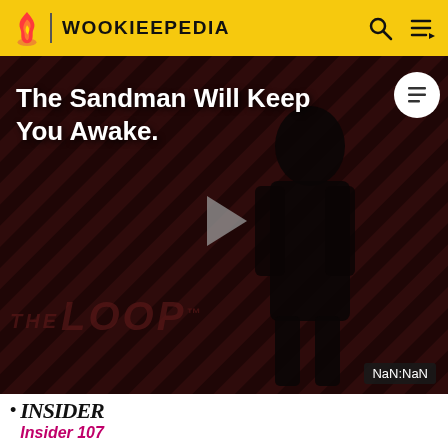WOOKIEEPEDIA
[Figure (screenshot): Video thumbnail showing 'The Sandman Will Keep You Awake.' title over a dark figure with diagonal stripe background, THE LOOP logo at bottom, play button in center, NaN:NaN timer badge at bottom right]
Insider 107
Star Wars: The Official Starships & Vehicles Collection 74 (Action Stations: Wicket to the rescue!; Welcome On Board: Cindel Towani; Droids, Aliens & Creatures: Charal)
"Warriors of Endor" – Star Wars